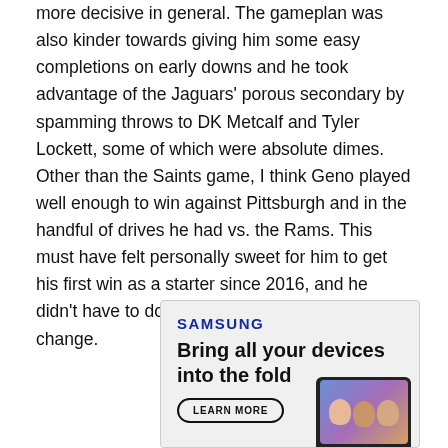more decisive in general. The gameplan was also kinder towards giving him some easy completions on early downs and he took advantage of the Jaguars' porous secondary by spamming throws to DK Metcalf and Tyler Lockett, some of which were absolute dimes. Other than the Saints game, I think Geno played well enough to win against Pittsburgh and in the handful of drives he had vs. the Rams. This must have felt personally sweet for him to get his first win as a starter since 2016, and he didn't have to do anything in crunch time for a change.
[Figure (infographic): Samsung advertisement: 'SAMSUNG' logo in blue, headline 'Bring all your devices into the fold', 'LEARN MORE' button, and a phone showing faces on screen.]